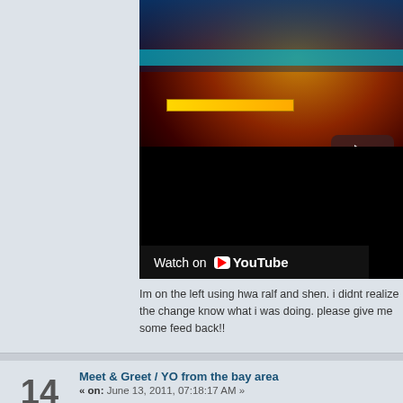[Figure (screenshot): YouTube embedded video showing a fighting video game (appears to be King of Fighters or similar) with a play button overlay and 'Watch on YouTube' bar at the bottom]
Im on the left using hwa ralf and shen. i didnt realize the change know what i was doing. please give me some feed back!!
Meet & Greet / YO from the bay area
« on: June 13, 2011, 07:18:17 AM »